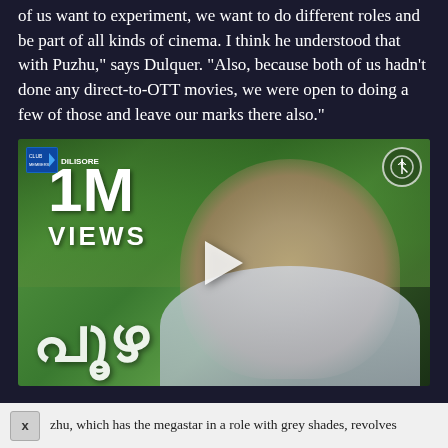of us want to experiment, we want to do different roles and be part of all kinds of cinema. I think he understood that with Puzhu," says Dulquer. "Also, because both of us hadn't done any direct-to-OTT movies, we were open to doing a few of those and leave our marks there also."
[Figure (photo): Video thumbnail showing 1M VIEWS overlay on a Malayalam movie 'Puzhu' trailer. Shows a man with a mustache in a light checked shirt, with Malayalam script title at the bottom left, a play button in the center, and logos in the top corners.]
zhu, which has the megastar in a role with grey shades, revolves